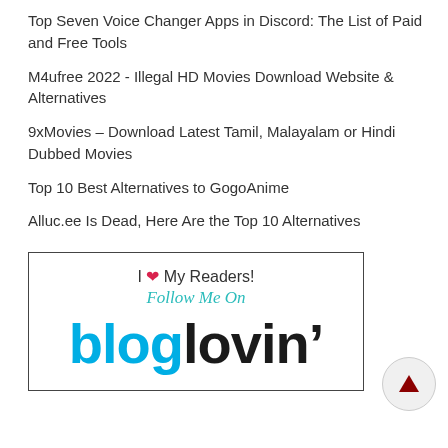Top Seven Voice Changer Apps in Discord: The List of Paid and Free Tools
M4ufree 2022 - Illegal HD Movies Download Website & Alternatives
9xMovies – Download Latest Tamil, Malayalam or Hindi Dubbed Movies
Top 10 Best Alternatives to GogoAnime
Alluc.ee Is Dead, Here Are the Top 10 Alternatives
[Figure (logo): Bloglovin promotional banner with text: I love My Readers! Follow Me On bloglovin']